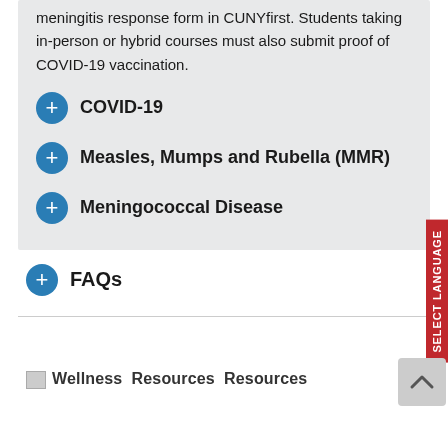meningitis response form in CUNYfirst. Students taking in-person or hybrid courses must also submit proof of COVID-19 vaccination.
COVID-19
Measles, Mumps and Rubella (MMR)
Meningococcal Disease
FAQs
Wellness Resources Resources